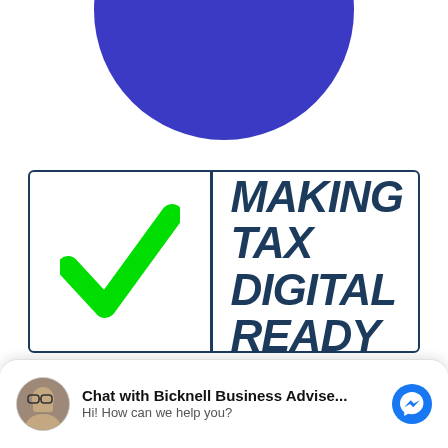[Figure (illustration): Large blue circle partially visible at top of page, cropped]
[Figure (illustration): Bordered sign box with a large green checkmark on the left divided by a vertical line from bold dark navy italic text reading MAKING TAX DIGITAL READY on the right]
Chat with Bicknell Business Advise...
Hi! How can we help you?